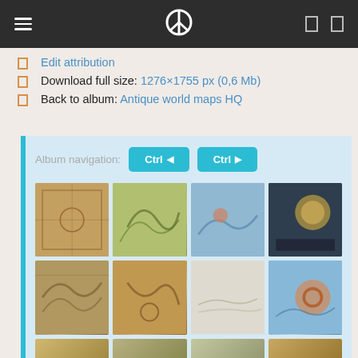Navigation bar with hamburger menu, peace logo, and icon buttons
Edit attribution
Download full size: 1276×1755 px (0,6 Mb)
Back to album: Antique world maps HQ
[Figure (screenshot): Album navigation panel with Ctrl navigation buttons and a grid of antique map thumbnails arranged in rows of 4]